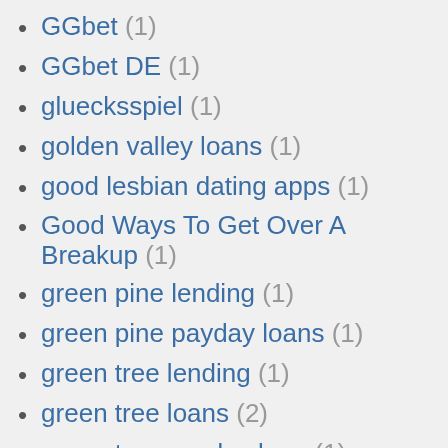GGbet (1)
GGbet DE (1)
gluecksspiel (1)
golden valley loans (1)
good lesbian dating apps (1)
Good Ways To Get Over A Breakup (1)
green pine lending (1)
green pine payday loans (1)
green tree lending (1)
green tree loans (2)
green tree payday loan (1)
green tree payday loans (1)